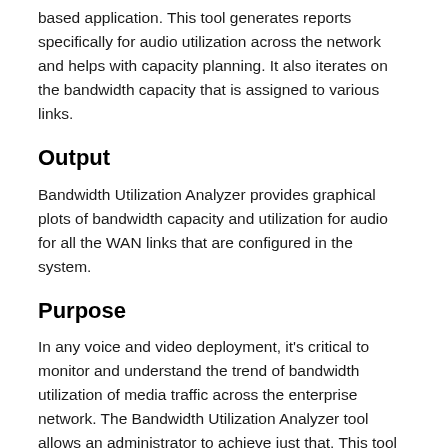based application. This tool generates reports specifically for audio utilization across the network and helps with capacity planning. It also iterates on the bandwidth capacity that is assigned to various links.
Output
Bandwidth Utilization Analyzer provides graphical plots of bandwidth capacity and utilization for audio for all the WAN links that are configured in the system.
Purpose
In any voice and video deployment, it's critical to monitor and understand the trend of bandwidth utilization of media traffic across the enterprise network. The Bandwidth Utilization Analyzer tool allows an administrator to achieve just that. This tool does the following: